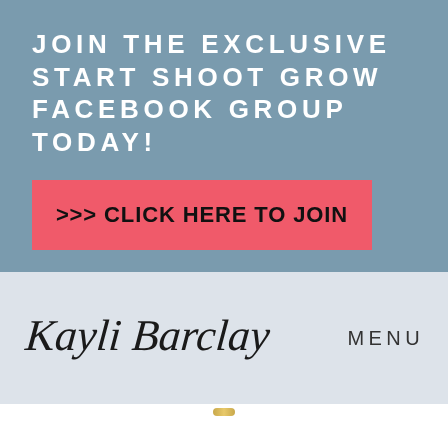JOIN THE EXCLUSIVE START SHOOT GROW FACEBOOK GROUP TODAY!
>>> CLICK HERE TO JOIN
[Figure (illustration): Kayli Barclay handwritten signature in cursive script]
MENU
Reply
Angie says: